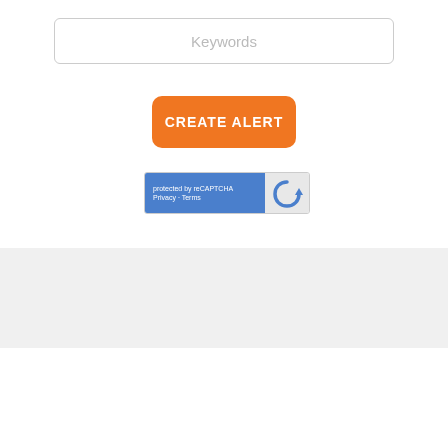Keywords
CREATE ALERT
[Figure (screenshot): reCAPTCHA widget with blue left panel showing 'protected by reCAPTCHA' and 'Privacy · Terms' links, and gray right panel showing the reCAPTCHA logo]
FEATURED COMPANIES